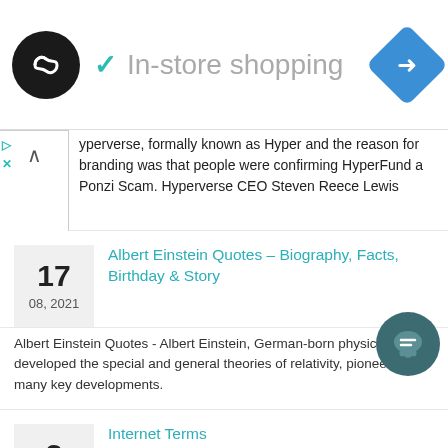[Figure (logo): Black circular logo with double infinity/loop symbol in white, next to a checkmark and 'In-store shopping' text, and a blue diamond navigation icon on the right]
yperverse, formally known as Hyper and the reason for branding was that people were confirming HyperFund a Ponzi Scam. Hyperverse CEO Steven Reece Lewis
Albert Einstein Quotes – Biography, Facts, Birthday & Story
Albert Einstein Quotes - Albert Einstein, German-born physicist who developed the special and general theories of relativity, pioneering many key developments.
Internet Terms
Glossary of Internet Terms - As you strive to make sense of the Internet and the World Wide Web, these terms are bound to be very helpful.
Stop being exploited by Website Design